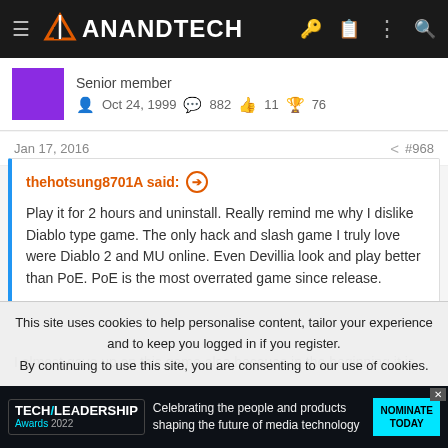AnandTech
Senior member · Oct 24, 1999 · 882 · 11 · 76
Jan 17, 2016  #968
thehotsung8701A said: ↗  Play it for 2 hours and uninstall. Really remind me why I dislike Diablo type game. The only hack and slash game I truly love were Diablo 2 and MU online. Even Devillia look and play better than PoE. PoE is the most overrated game since release.
I almost gave up on this game also because in the beginning it is
This site uses cookies to help personalise content, tailor your experience and to keep you logged in if you register.
By continuing to use this site, you are consenting to our use of cookies.
[Figure (screenshot): Tech Leadership Awards 2022 advertisement banner at the bottom of the page]